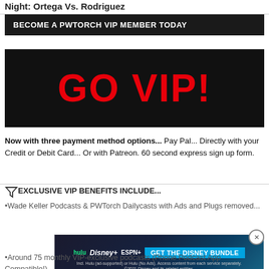Night: Ortega Vs. Rodriguez
BECOME A PWTORCH VIP MEMBER TODAY
[Figure (other): Black banner with large red bold text reading GO VIP!]
Now with three payment method options... Pay Pal... Directly with your Credit or Debit Card... Or with Patreon. 60 second express sign up form.
EXCLUSIVE VIP BENEFITS INCLUDE...
•Wade Keller Podcasts & PWTorch Dailycasts with Ads and Plugs removed...
[Figure (other): Disney Bundle advertisement banner with Hulu, Disney+, ESPN+ logos and GET THE DISNEY BUNDLE call to action]
•Around 75 monthly VIP-exclusive podcasts (Phone Podcast App Compatible!)